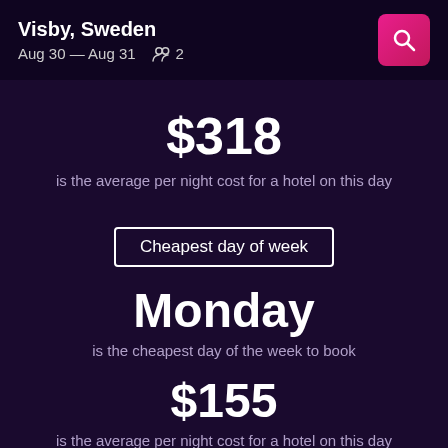Visby, Sweden | Aug 30 — Aug 31 | 2 guests
$318
is the average per night cost for a hotel on this day
Cheapest day of week
Monday
is the cheapest day of the week to book
$155
is the average per night cost for a hotel on this day